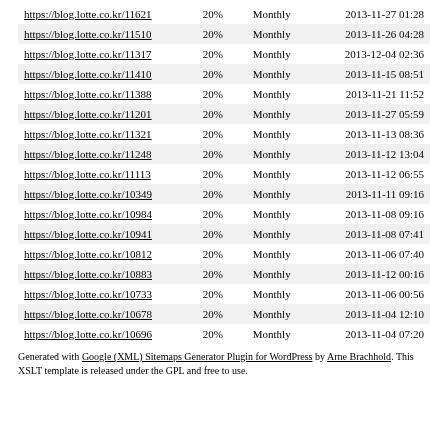| https://blog.lotte.co.kr/11621 | 20% | Monthly | 2013-11-27 01:28 |
| https://blog.lotte.co.kr/11510 | 20% | Monthly | 2013-11-26 04:28 |
| https://blog.lotte.co.kr/11317 | 20% | Monthly | 2013-12-04 02:36 |
| https://blog.lotte.co.kr/11410 | 20% | Monthly | 2013-11-15 08:51 |
| https://blog.lotte.co.kr/11388 | 20% | Monthly | 2013-11-21 11:52 |
| https://blog.lotte.co.kr/11201 | 20% | Monthly | 2013-11-27 05:59 |
| https://blog.lotte.co.kr/11321 | 20% | Monthly | 2013-11-13 08:36 |
| https://blog.lotte.co.kr/11248 | 20% | Monthly | 2013-11-12 13:04 |
| https://blog.lotte.co.kr/11113 | 20% | Monthly | 2013-11-12 06:55 |
| https://blog.lotte.co.kr/10349 | 20% | Monthly | 2013-11-11 09:16 |
| https://blog.lotte.co.kr/10984 | 20% | Monthly | 2013-11-08 09:16 |
| https://blog.lotte.co.kr/10941 | 20% | Monthly | 2013-11-08 07:41 |
| https://blog.lotte.co.kr/10812 | 20% | Monthly | 2013-11-06 07:40 |
| https://blog.lotte.co.kr/10883 | 20% | Monthly | 2013-11-12 00:16 |
| https://blog.lotte.co.kr/10733 | 20% | Monthly | 2013-11-06 00:56 |
| https://blog.lotte.co.kr/10678 | 20% | Monthly | 2013-11-04 12:10 |
| https://blog.lotte.co.kr/10696 | 20% | Monthly | 2013-11-04 07:20 |
Generated with Google (XML) Sitemaps Generator Plugin for WordPress by Arne Brachhold. This XSLT template is released under the GPL and free to use.